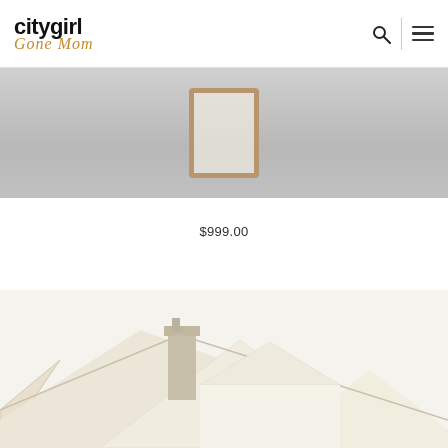city girl Gone Mom
[Figure (photo): Top portion of a product photo showing what appears to be a framed mirror or artwork on a gray floor/surface background]
$999.00
[Figure (photo): Bottom portion showing rooftops of houses — cream/white colored house rooflines with a brick chimney visible]